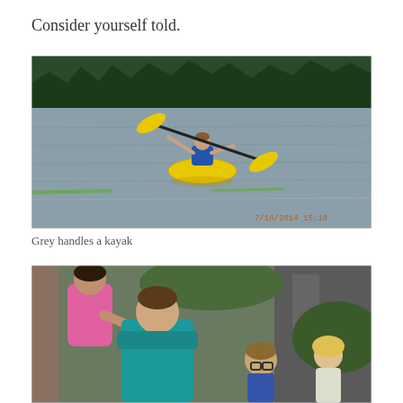Consider yourself told.
[Figure (photo): A person paddling a yellow kayak on a calm lake with a yellow double-bladed paddle, forest treeline in background, date stamp 7/18/2014 15:18 in lower right corner]
Grey handles a kayak
[Figure (photo): Group of people outdoors, a girl in pink top leaning over a boy in teal shirt, another boy with glasses and a blonde girl visible in background near trees and a structure]